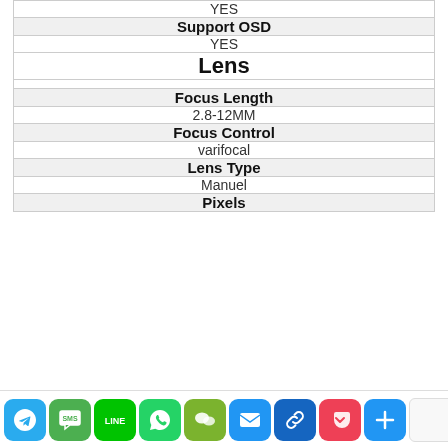| YES |
| Support OSD |
| YES |
| Lens |
| Focus Length |
| 2.8-12MM |
| Focus Control |
| varifocal |
| Lens Type |
| Manuel |
| Pixels |